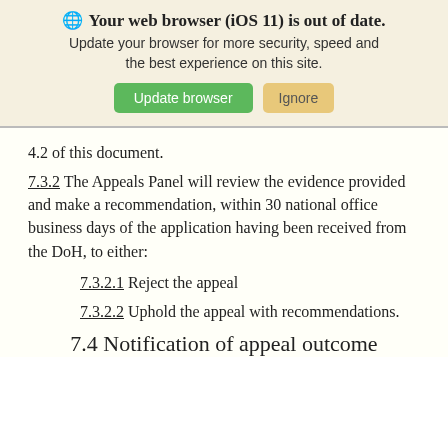[Figure (screenshot): Browser update warning banner with globe icon, bold title 'Your web browser (iOS 11) is out of date.', descriptive text, and two buttons: green 'Update browser' and tan 'Ignore']
4.2 of this document.
7.3.2 The Appeals Panel will review the evidence provided and make a recommendation, within 30 national office business days of the application having been received from the DoH, to either:
7.3.2.1 Reject the appeal
7.3.2.2 Uphold the appeal with recommendations.
7.4 Notification of appeal outcome